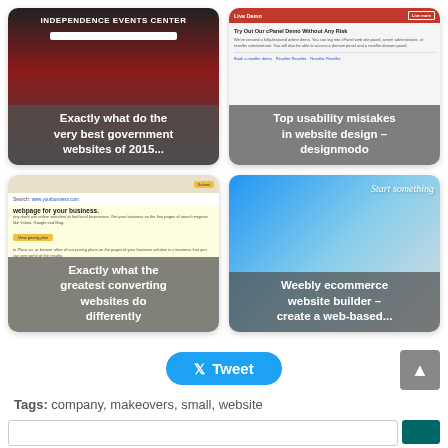[Figure (screenshot): Screenshot of Independence Events Center government website with dark red/black header, white search bar, overlaid with text caption]
Exactly what do the very best government websites of 2015...
[Figure (screenshot): Screenshot of a web hosting demo page with red header saying 'Live Demo', overlaid with text caption]
Top usability mistakes in website design – designmodo
[Figure (screenshot): Screenshot of a business webpage builder/Yellow Pages style site, overlaid with text caption]
Exactly what the greatest converting websites do differently
[Figure (screenshot): Screenshot of Weebly website builder with blue gradient background and 'Start something' script heading, overlaid with text caption]
Weebly ecommerce website builder – create a web-based...
Tweet
Tags: company, makeovers, small, website